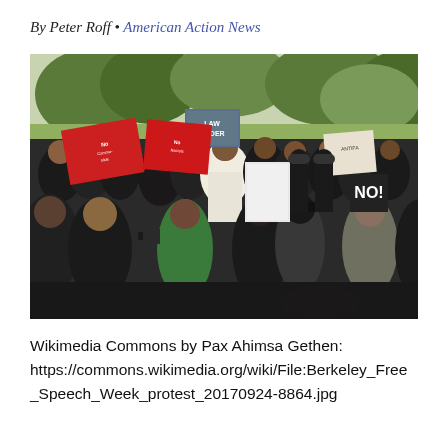By Peter Roff • American Action News
[Figure (photo): A large outdoor protest crowd with people holding signs including 'LAW ORDER' and red signs, with trees in the background. Police in riot gear visible among the crowd. Photo from Berkeley Free Speech Week protest.]
Wikimedia Commons by Pax Ahimsa Gethen: https://commons.wikimedia.org/wiki/File:Berkeley_Free_Speech_Week_protest_20170924-8864.jpg